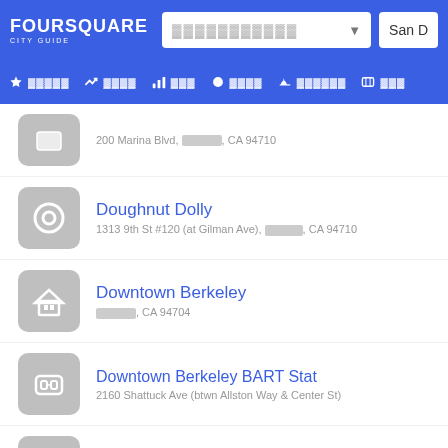Foursquare City Guide — navigation header with search bar and location 'San D'
200 Marina Blvd, [redacted], CA 94710
Doughnut Dolly — 1313 9th St #120 (at Gilman Ave), [redacted], CA 94710
Downtown Berkeley — [redacted], CA 94704
Downtown Berkeley BART Stat — 2160 Shattuck Ave (btwn Allston Way & Center St)
Downtown Berkeley Farmers M — Center St. (at M.K.King, Jr. Way), [redacted], CA 94608
Dream Fluff Donuts — 2637 Ashby (College Ave.), [redacted], CA